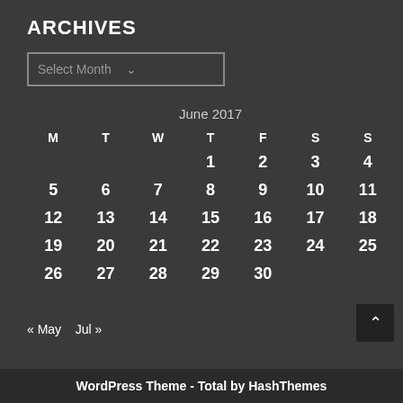ARCHIVES
Select Month
| M | T | W | T | F | S | S |
| --- | --- | --- | --- | --- | --- | --- |
|  |  |  | 1 | 2 | 3 | 4 |
| 5 | 6 | 7 | 8 | 9 | 10 | 11 |
| 12 | 13 | 14 | 15 | 16 | 17 | 18 |
| 19 | 20 | 21 | 22 | 23 | 24 | 25 |
| 26 | 27 | 28 | 29 | 30 |  |  |
« May   Jul »
WordPress Theme - Total by HashThemes